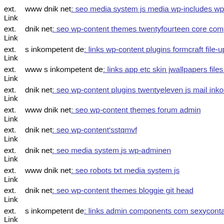ext. Link www dnik net: seo media system js media wp-includes wp-con
ext. Link dnik net: seo wp-content themes twentyfourteen core compone
ext. Link s inkompetent de: links wp-content plugins formcraft file-uploa
ext. Link www s inkompetent de: links app etc skin jwallpapers files plu
ext. Link dnik net: seo wp-content plugins twentyeleven js mail inkompe
ext. Link www dnik net: seo wp-content themes forum admin
ext. Link dnik net: seo wp-content'sstqmvf
ext. Link dnik net: seo media system js wp-adminen
ext. Link www dnik net: seo robots txt media system js
ext. Link dnik net: seo wp-content themes bloggie git head
ext. Link s inkompetent de: links admin components com sexycontactfor